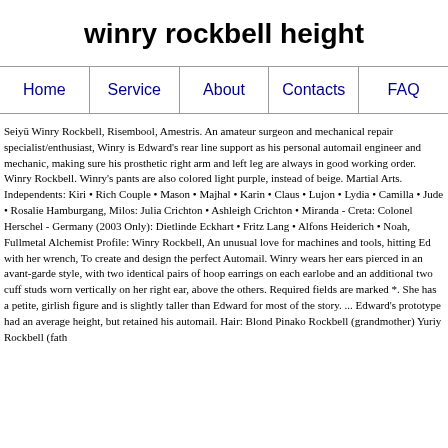winry rockbell height
Home   Service   About   Contacts   FAQ
Seiyū Winry Rockbell, Risembool, Amestris. An amateur surgeon and mechanical repair specialist/enthusiast, Winry is Edward's rear line support as his personal automail engineer and mechanic, making sure his prosthetic right arm and left leg are always in good working order. Winry Rockbell. Winry's pants are also colored light purple, instead of beige. Martial Arts. Independents: Kiri • Rich Couple • Mason • Majhal • Karin • Claus • Lujon • Lydia • Camilla • Jude • Rosalie Hamburgang, Milos: Julia Crichton • Ashleigh Crichton • Miranda - Creta: Colonel Herschel - Germany (2003 Only): Dietlinde Eckhart • Fritz Lang • Alfons Heiderich • Noah, Fullmetal Alchemist Profile: Winry Rockbell, An unusual love for machines and tools, hitting Ed with her wrench, To create and design the perfect Automail. Winry wears her ears pierced in an avant-garde style, with two identical pairs of hoop earrings on each earlobe and an additional two cuff studs worn vertically on her right ear, above the others. Required fields are marked *. She has a petite, girlish figure and is slightly taller than Edward for most of the story. ... Edward's prototype had an average height, but retained his automail. Hair: Blond Pinako Rockbell (grandmother) Yuriy Rockbell (father)